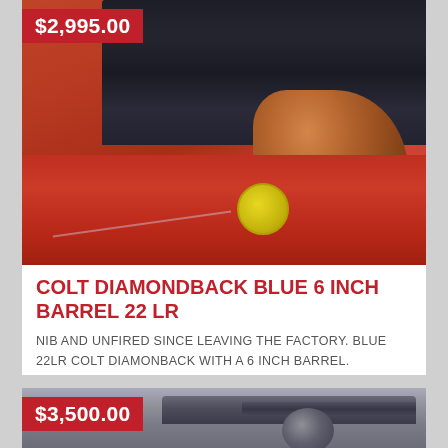[Figure (photo): Close-up photo of a Colt Diamondback revolver with blue finish and wooden grip, shown on a red surface with a yellow tag attached. Price badge showing $2,995.00 in upper left corner.]
COLT DIAMONDBACK BLUE 6 INCH BARREL 22 LR
NIB AND UNFIRED SINCE LEAVING THE FACTORY. BLUE 22LR COLT DIAMONBACK WITH A 6 INCH BARREL. COMPLETE WITH MATCHING BOX AND ALL PAPERWORK STILL IN THE
[Figure (photo): Photo of a second revolver with blued/grey finish, showing barrel and cylinder. Price badge showing $3,500.00 in upper left corner.]